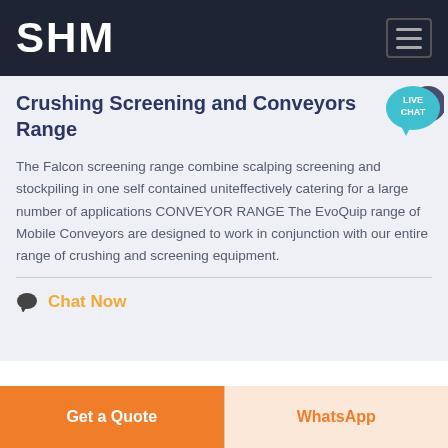SHM
Crushing Screening and Conveyors Range
The Falcon screening range combine scalping screening and stockpiling in one self contained uniteffectively catering for a large number of applications CONVEYOR RANGE The EvoQuip range of Mobile Conveyors are designed to work in conjunction with our entire range of crushing and screening equipment.
Chat Now
Get a Quote | WhatsApp